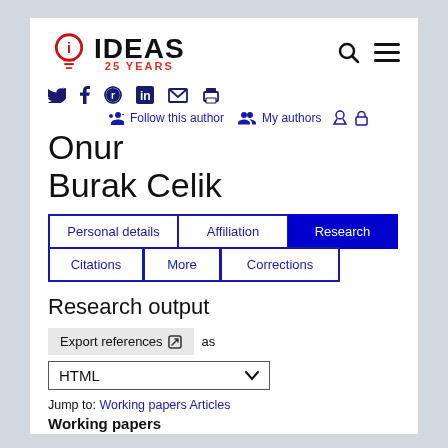[Figure (logo): IDEAS 25 YEARS logo with a lightbulb icon in red, search icon and hamburger menu]
Social sharing icons: Twitter, Facebook, Reddit, LinkedIn, Email, Print
Follow this author   My authors
Onur Burak Celik
Personal details | Affiliation | Research | Citations | More | Corrections
Research output
Export references as
HTML
Jump to: Working papers Articles
Working papers